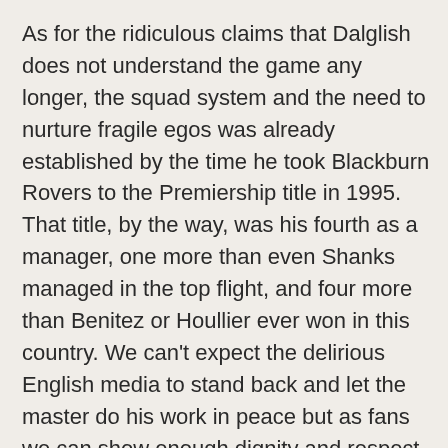As for the ridiculous claims that Dalglish does not understand the game any longer, the squad system and the need to nurture fragile egos was already established by the time he took Blackburn Rovers to the Premiership title in 1995. That title, by the way, was his fourth as a manager, one more than even Shanks managed in the top flight, and four more than Benitez or Houllier ever won in this country. We can't expect the delirious English media to stand back and let the master do his work in peace but as fans we can show enough dignity and respect to allow our manager – the greatest icon the club has ever known – get on with the work that needs to be done to restore Liverpool's pride.